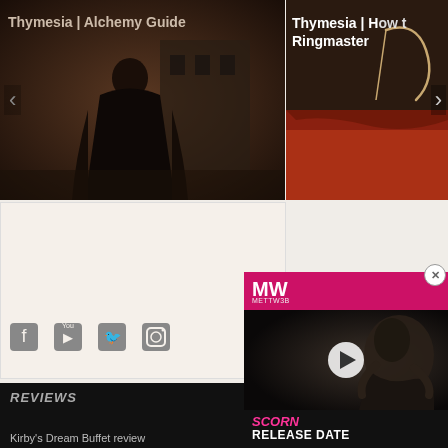[Figure (screenshot): Thymesia Alchemy Guide - dark hooded figure screenshot with left navigation arrow]
[Figure (screenshot): Thymesia How to Ringmaster - partial screenshot with red sky scene and right navigation arrow]
Social Media
SUBSCRIBE
[Figure (infographic): Social media icons: Facebook, YouTube, Twitter, Instagram]
[Figure (screenshot): Scorn Release Date video ad with MW logo and creature image]
REVIEWS
Kirby's Dream Buffet review